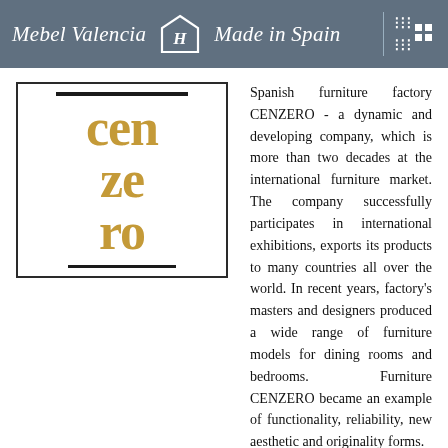Mebel Valencia   Made in Spain
[Figure (logo): CENZERO brand logo with gold italic serif text 'cenzero' split over three lines (cen / ze / ro), flanked by two black horizontal bars, inside a rectangular border.]
Spanish furniture factory CENZERO - a dynamic and developing company, which is more than two decades at the international furniture market. The company successfully participates in international exhibitions, exports its products to many countries all over the world. In recent years, factory's masters and designers produced a wide range of furniture models for dining rooms and bedrooms. Furniture CENZERO became an example of functionality, reliability, new aesthetic and originality forms.